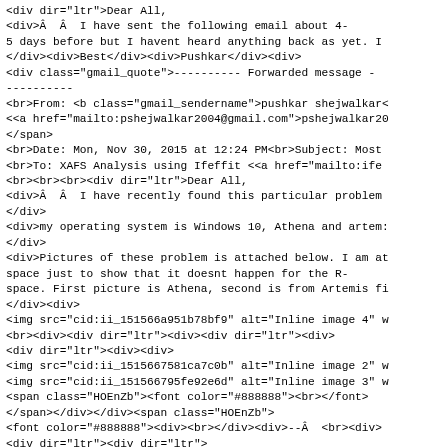<div dir="ltr">Dear All,
<div>Â  Â  I have sent the following email about 4-
5 days before but I havent heard anything back as yet. I
</div><div>Best</div><div>Pushkar</div><div>
<div class="gmail_quote">---------- Forwarded message -
----------
<br>From: <b class="gmail_sendername">pushkar shejwalkar<
<<a href="mailto:pshejwalkar2004@gmail.com">pshejwalkar20
</span>
<br>Date: Mon, Nov 30, 2015 at 12:24 PM<br>Subject: Most
<br>To: XAFS Analysis using Ifeffit <<a href="mailto:ife
<br><br><br><div dir="ltr">Dear All,
<div>Â  Â  I have recently found this particular problem
</div>
<div>my operating system is Windows 10, Athena and artem:
</div>
<div>Pictures of these problem is attached below. I am at
space just to show that it doesnt happen for the R-
space. First picture is Athena, second is from Artemis fi
</div><div>
<img src="cid:ii_151566a951b78bf9" alt="Inline image 4" w
<br><div><div dir="ltr"><div><div dir="ltr"><div>
<div dir="ltr"><div><div>
<img src="cid:ii_1515667581ca7c0b" alt="Inline image 2" w
<img src="cid:ii_151566795fe92e6d" alt="Inline image 3" w
<span class="HOEnZb"><font color="#888888"><br></font>
</span></div></div><span class="HOEnZb">
<font color="#888888"><div><br></div><div>--Â  <br><div>
<div dir="ltr"><div dir="ltr">
<div dir="ltr">Best Regards,<br>Pushkar Shejwalkar